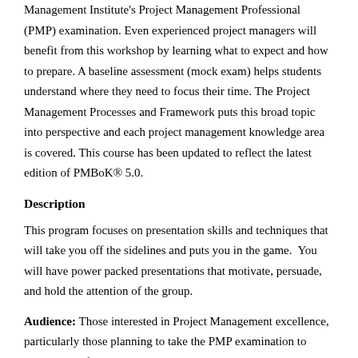Management Institute's Project Management Professional (PMP) examination. Even experienced project managers will benefit from this workshop by learning what to expect and how to prepare. A baseline assessment (mock exam) helps students understand where they need to focus their time. The Project Management Processes and Framework puts this broad topic into perspective and each project management knowledge area is covered. This course has been updated to reflect the latest edition of PMBoK® 5.0.
Description
This program focuses on presentation skills and techniques that will take you off the sidelines and puts you in the game.  You will have power packed presentations that motivate, persuade, and hold the attention of the group.
Audience: Those interested in Project Management excellence, particularly those planning to take the PMP examination to become certified project managers.